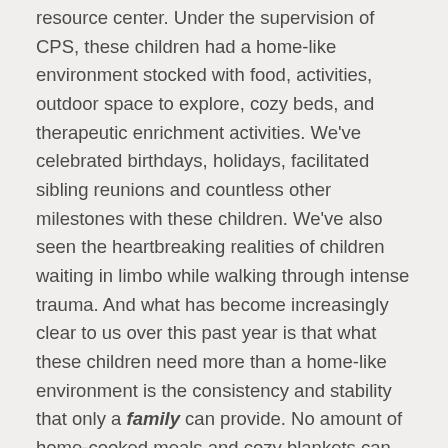resource center. Under the supervision of CPS, these children had a home-like environment stocked with food, activities, outdoor space to explore, cozy beds, and therapeutic enrichment activities. We've celebrated birthdays, holidays, facilitated sibling reunions and countless other milestones with these children. We've also seen the heartbreaking realities of children waiting in limbo while walking through intense trauma. And what has become increasingly clear to us over this past year is that what these children need more than a home-like environment is the consistency and stability that only a family can provide. No amount of home-cooked meals and cozy blankets can fill the gap of missing deep and consistent human connection.
The need was so great this past year that we quite literally moved out of our own space to accommodate the overwhelming influx of children without placements. We let CPS move in and added more beds to make room for just a